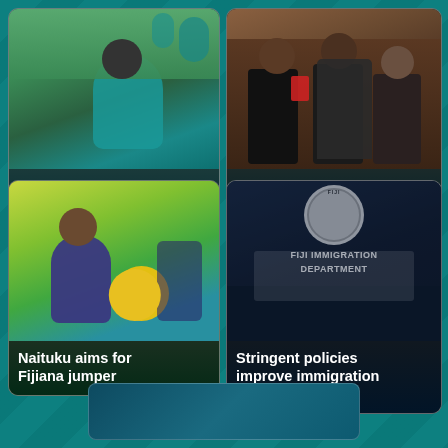[Figure (photo): Young rugby player in teal jersey on a green field with palm trees in background]
Young star looks to the future
[Figure (photo): Three men in suits, politicians or government officials, standing together]
Heated debate on civil servants pay cuts
[Figure (photo): Young girl smiling, holding a yellow rugby ball, wearing a navy top with green background]
Naituku aims for Fijiana jumper
[Figure (photo): Fiji Immigration Department signage on a dark blue building with the Fiji crest emblem]
Stringent policies improve immigration services